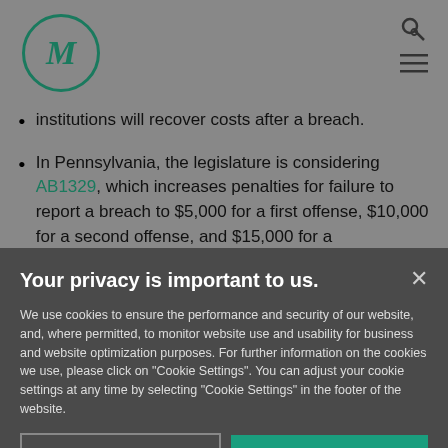M logo and navigation icons
institutions will recover costs after a breach.
In Pennsylvania, the legislature is considering AB1329, which increases penalties for failure to report a breach to $5,000 for a first offense, $10,000 for a second offense, and $15,000 for a
Your privacy is important to us.
We use cookies to ensure the performance and security of our website, and, where permitted, to monitor website use and usability for business and website optimization purposes. For further information on the cookies we use, please click on "Cookie Settings". You can adjust your cookie settings at any time by selecting "Cookie Settings" in the footer of the website.
Cookie Settings | Accept All Cookies